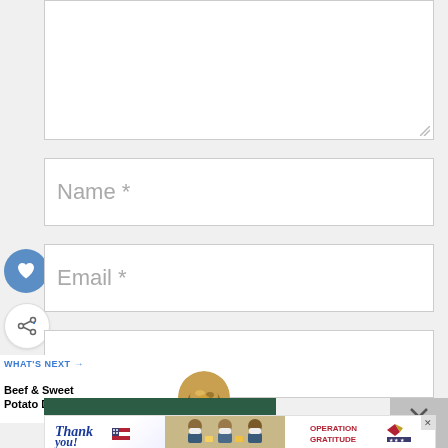[Figure (screenshot): Comment form textarea box (empty, resizable) at the top of the page]
Name *
Email *
Website
[Figure (infographic): Like button (blue circle with heart icon) and Share button (white circle with share icon) on the left side]
WHAT'S NEXT → Beef & Sweet Potato Dinn...
[Figure (photo): Thumbnail image of beef and sweet potato dinner dish]
[Figure (screenshot): Post Comment button (dark green background, white italic text)]
[Figure (photo): Operation Gratitude advertisement banner with thank you image and military personnel]